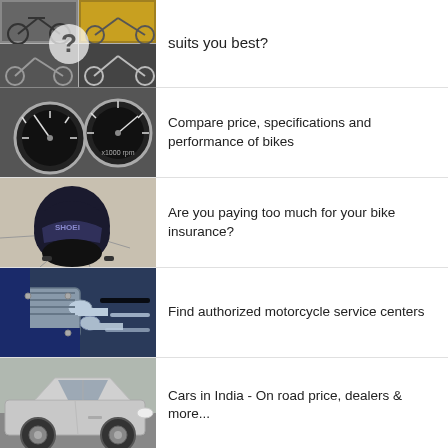[Figure (photo): Collage of motorcycles with question mark overlay]
suits you best?
[Figure (photo): Close-up of motorcycle speedometer gauges]
Compare price, specifications and performance of bikes
[Figure (photo): Motorcycle helmet on cracked ground]
Are you paying too much for your bike insurance?
[Figure (photo): Chrome motorcycle engine detail]
Find authorized motorcycle service centers
[Figure (photo): Silver car side view]
Cars in India - On road price, dealers & more...